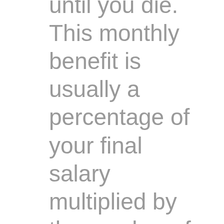until you die. This monthly benefit is usually a percentage of your final salary multiplied by the number of years you've been with the company. Defined benefit pensions are usually funded completely by your employer.